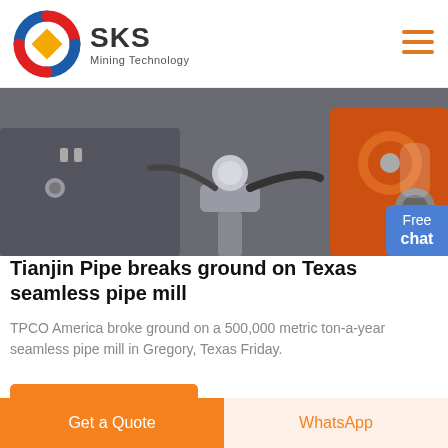[Figure (logo): SKS Mining Technology logo with circular red/blue/yellow emblem and bold 'SKS' text]
[Figure (photo): Industrial pipe mill machinery showing metal components, tubes, and orange equipment on dark background]
Tianjin Pipe breaks ground on Texas seamless pipe mill
TPCO America broke ground on a 500,000 metric ton-a-year seamless pipe mill in Gregory, Texas Friday.
READ MORE
inside the ball mill woking
Get a Quote
WhatsApp